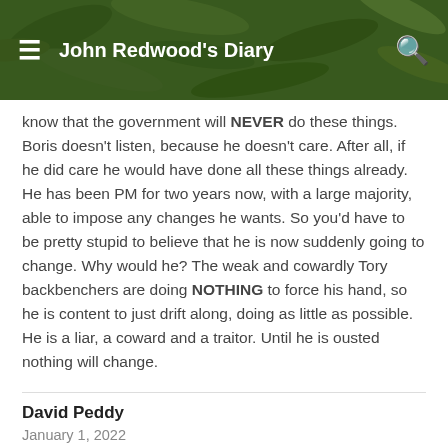John Redwood's Diary
know that the government will NEVER do these things. Boris doesn't listen, because he doesn't care. After all, if he did care he would have done all these things already. He has been PM for two years now, with a large majority, able to impose any changes he wants. So you'd have to be pretty stupid to believe that he is now suddenly going to change. Why would he? The weak and cowardly Tory backbenchers are doing NOTHING to force his hand, so he is content to just drift along, doing as little as possible. He is a liar, a coward and a traitor. Until he is ousted nothing will change.
David Peddy
January 1, 2022